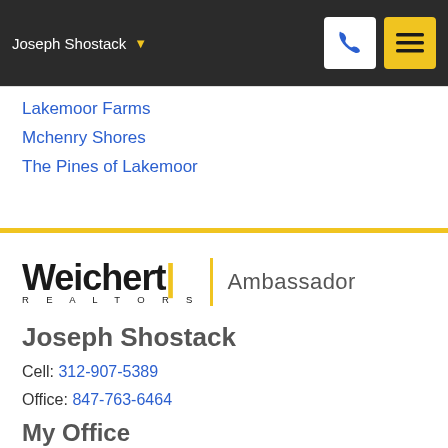Joseph Shostack
Lakemoor Farms
Mchenry Shores
The Pines of Lakemoor
[Figure (logo): Weichert Realtors Ambassador logo]
Joseph Shostack
Cell: 312-907-5389
Office: 847-763-6464
My Office